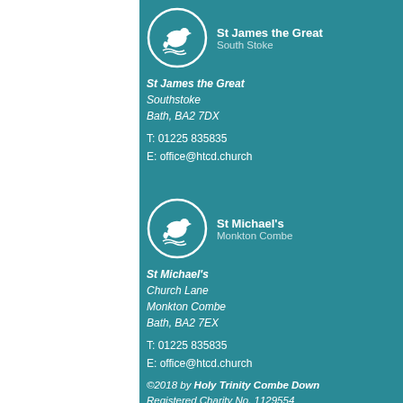[Figure (logo): Dove in circle logo with text: St James the Great, South Stoke]
St James the Great
Southstoke
Bath, BA2 7DX
T: 01225 835835
E: office@htcd.church
[Figure (logo): Dove in circle logo with text: St Michael's, Monkton Combe]
St Michael's
Church Lane
Monkton Combe
Bath, BA2 7EX
T: 01225 835835
E: office@htcd.church
©2018 by Holy Trinity Combe Down
Registered Charity No. 1129554